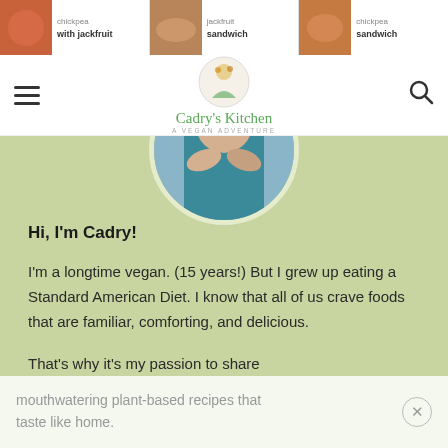with jackfruit | sandwich | sandwich
[Figure (logo): Cadry's Kitchen logo with illustrated character and text 'Cadry's Kitchen - A Vegan Adventure']
[Figure (photo): Profile photo of Cadry in a circle frame, showing hands and teal top, partially cropped]
Hi, I'm Cadry!
I'm a longtime vegan. (15 years!) But I grew up eating a Standard American Diet. I know that all of us crave foods that are familiar, comforting, and delicious.
That's why it's my passion to share
mouthwatering plant-based recipes that taste like home.